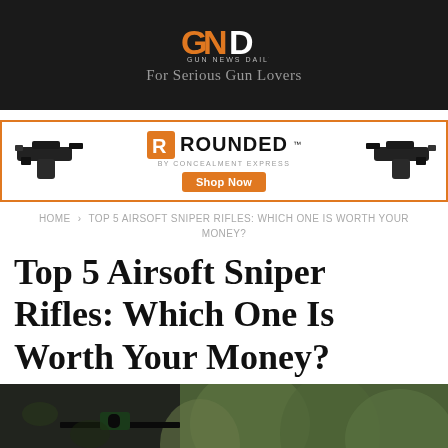GND GUN NEWS DAILY — For Serious Gun Lovers
[Figure (screenshot): ROUNDED by Concealment Express advertisement banner with holster images and Shop Now button]
HOME › TOP 5 AIRSOFT SNIPER RIFLES: WHICH ONE IS WORTH YOUR MONEY?
Top 5 Airsoft Sniper Rifles: Which One Is Worth Your Money?
[Figure (photo): Person in camouflage aiming an airsoft sniper rifle in a forested outdoor setting]